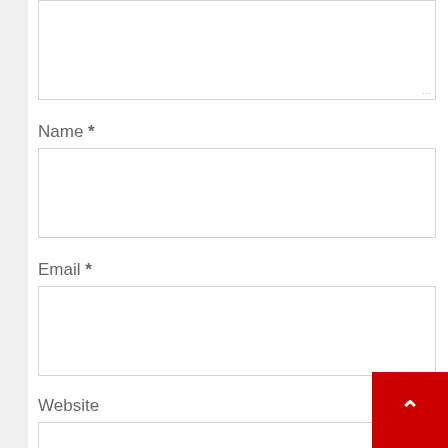[Figure (screenshot): Partial textarea at the top of the page with a resize handle in the bottom-right corner]
Name *
[Figure (screenshot): Empty text input field for Name]
Email *
[Figure (screenshot): Empty text input field for Email]
Website
[Figure (screenshot): Empty text input field for Website, partially visible at the bottom of the page]
[Figure (other): Red back-to-top button with an upward chevron arrow in the bottom-right corner]